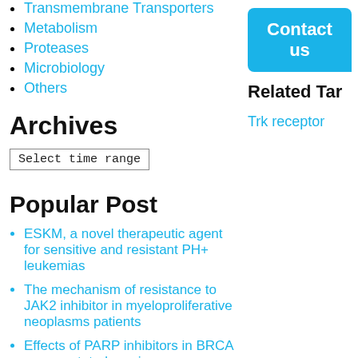Transmembrane Transporters
Metabolism
Proteases
Microbiology
Others
Archives
Select time range
Popular Post
ESKM, a novel therapeutic agent for sensitive and resistant PH+ leukemias
The mechanism of resistance to JAK2 inhibitor in myeloproliferative neoplasms patients
Effects of PARP inhibitors in BRCA gene-mutated ovarian cancer
DASATINIB: An inhibitor of Receptor
Contact us
Related Ta
Trk receptor